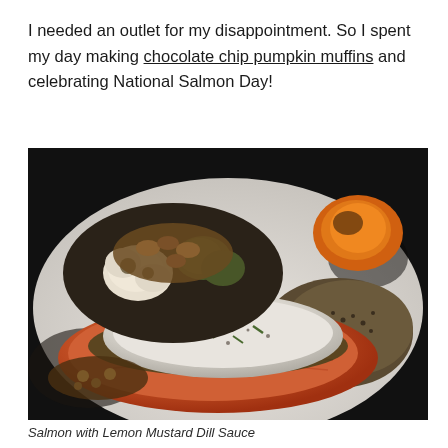I needed an outlet for my disappointment. So I spent my day making chocolate chip pumpkin muffins and celebrating National Salmon Day!
[Figure (photo): A plate of salmon with lemon mustard dill sauce, served with roasted cauliflower and grains/quinoa and other roasted vegetables.]
Salmon with Lemon Mustard Dill Sauce